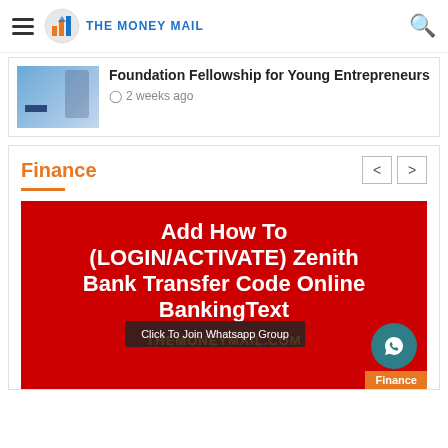THE MONEY MAIL
Foundation Fellowship for Young Entrepreneurs
2 weeks ago
Finance
[Figure (screenshot): Red banner image with white bold text reading 'Add How To (LOGIN/ACTIVATE) Zenith Bank Transfer Code Online BankingText', yellow text 'THEMONEYMAIL.COM', a 'Click To Join Whatsapp Group' overlay bar, and a Finance tag in the bottom right corner.]